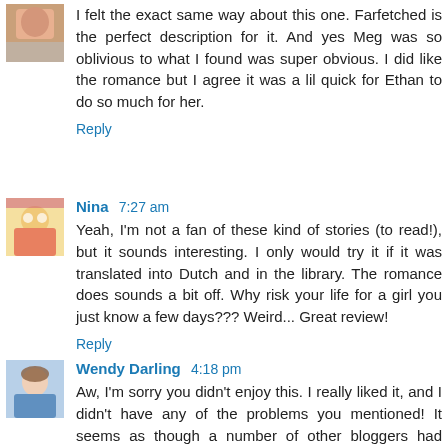I felt the exact same way about this one. Farfetched is the perfect description for it. And yes Meg was so oblivious to what I found was super obvious. I did like the romance but I agree it was a lil quick for Ethan to do so much for her.
Reply
Nina  7:27 am
Yeah, I'm not a fan of these kind of stories (to read!), but it sounds interesting. I only would try it if it was translated into Dutch and in the library. The romance does sounds a bit off. Why risk your life for a girl you just know a few days??? Weird... Great review!
Reply
Wendy Darling  4:18 pm
Aw, I'm sorry you didn't enjoy this. I really liked it, and I didn't have any of the problems you mentioned! It seems as though a number of other bloggers had issues with it too,